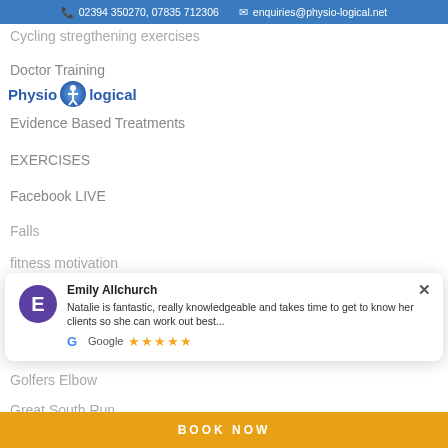📞 02394 350270, 07835 712306   ✉ enquiries@physio-logical.net
Cycling stregthening exercises
Doctor Training
[Figure (logo): Physio-logical logo with blue text and circular figure icon]
Evidence Based Treatments
EXERCISES
Facebook LIVE
Falls
fitness motivation
Emily Allchurch
Natalie is fantastic, really knowledgeable and takes time to get to know her clients so she can work out best...
Google ★★★★★
Golfers Elbow
Great South Run
BOOK NOW